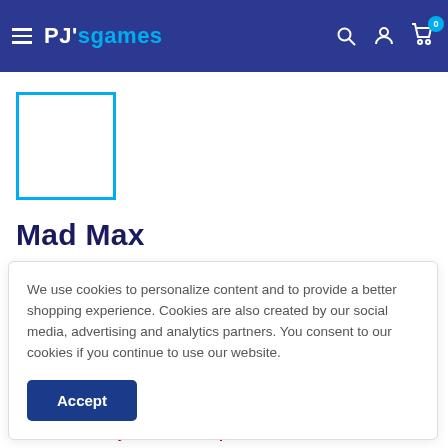PJ's games — navigation header with hamburger menu, logo, search, account, and cart icons
[Figure (illustration): Product image placeholder: empty white box with teal/cyan border]
Mad Max
Save 69%
We use cookies to personalize content and to provide a better shopping experience. Cookies are also created by our social media, advertising and analytics partners. You consent to our cookies if you continue to use our website.
Accept
Stock:  Only 10 left at this price